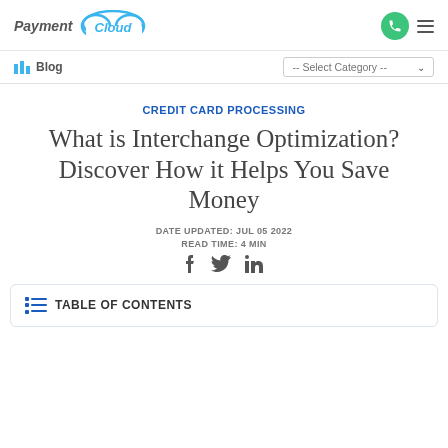PaymentCloud — Blog navigation with phone icon and hamburger menu
Blog — Select Category
CREDIT CARD PROCESSING
What is Interchange Optimization? Discover How it Helps You Save Money
DATE UPDATED: JUL 05 2022
READ TIME: 4 MIN
TABLE OF CONTENTS